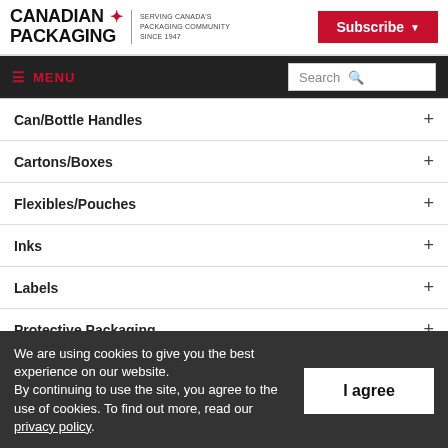CANADIAN PACKAGING — SERVING CANADA'S PACKAGING COMMUNITY SINCE 1947 | Subscribe
MENU | Search
Can/Bottle Handles +
Cartons/Boxes +
Flexibles/Pouches +
Inks +
Labels +
Protective Packaging +
Services
We are using cookies to give you the best experience on our website. By continuing to use the site, you agree to the use of cookies. To find out more, read our privacy policy.